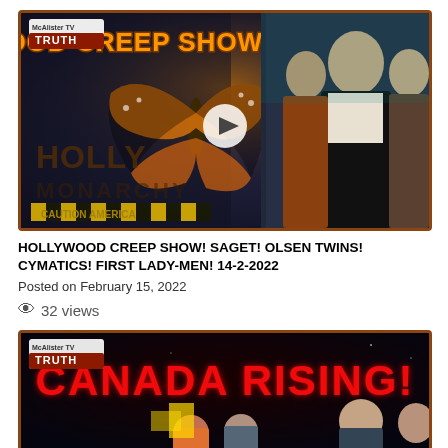[Figure (screenshot): Video thumbnail for Hollywood Creep Show episode. Dark background with monarch butterfly, text reads HOLLYWOOD CREEP SHOW! in orange glow, HOLLYWOOD MONARCHY CAUTION AMERICA text visible, McAlister TV TRUTH logo top left, photo of Bob Saget with Olsen twins on right side, play button in center.]
HOLLYWOOD CREEP SHOW! SAGET! OLSEN TWINS! CYMATICS! FIRST LADY-MEN! 14-2-2022
Posted on February 15, 2022
👁 32 views
[Figure (screenshot): Video thumbnail for Canada Rising episode. Dark background with red illuminated text CANADA RISING!, McAlister TV TRUTH logo, people with protest signs visible, faces of individuals.]